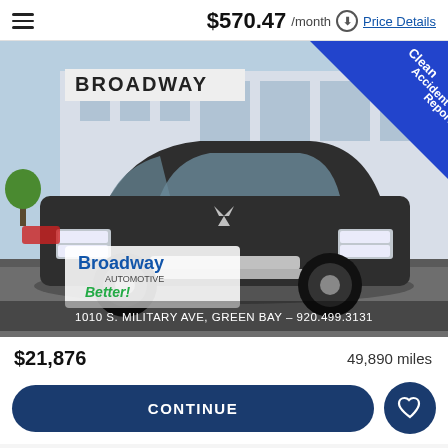$570.47 /month ⓘ Price Details
[Figure (photo): Dark gray Mitsubishi crossover SUV parked in front of Broadway Automotive dealership in Green Bay. A blue diagonal banner in the top-right corner reads 'Clean Accident Report'. The dealership logo and address '1010 S. Military Ave, Green Bay - 920.499.3131' are overlaid on the image.]
$21,876
49,890 miles
CONTINUE